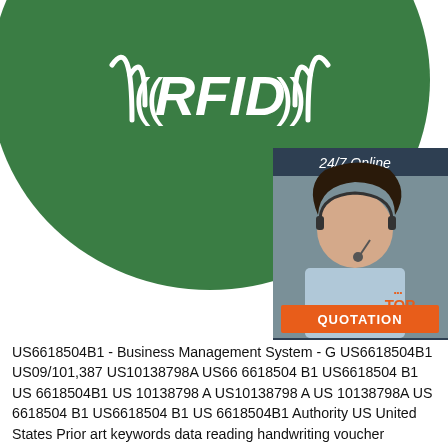[Figure (photo): Green RFID disc/token with white ((RFID)) text and signal wave symbols on the left portion, and a customer service representative (woman with headset) on the right with a '24/7 Online' label, 'Click here for free chat!' text, a 'QUOTATION' orange button, and a 'TOP' badge overlay.]
US6618504B1 - Business Management System - G US6618504B1 US09/101,387 US10138798A US66 6618504 B1 US6618504 B1 US 6618504B1 US 10138798 A US10138798 A US 10138798A US 6618504 B1 US6618504 B1 US 6618504B1 Authority US United States Prior art keywords data reading handwriting voucher character Prior art date 1996-11-05 Legal status (The legal status is an assumption and is not a legal conclusion.